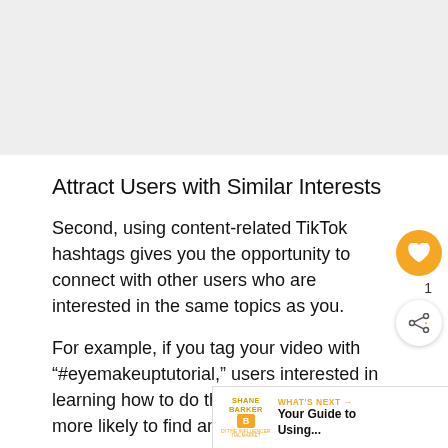[Figure (other): Gray placeholder/ad banner area at top of page]
Attract Users with Similar Interests
Second, using content-related TikTok hashtags gives you the opportunity to connect with other users who are interested in the same topics as you.
For example, if you tag your video with “#eyemakeuptutorial,” users interested in learning how to do their eye makeup are more likely to find and watch your video.
[Figure (other): "What's Next" promotional banner with Shane Barker logo and text: WHAT'S NEXT → Your Guide to Using...]